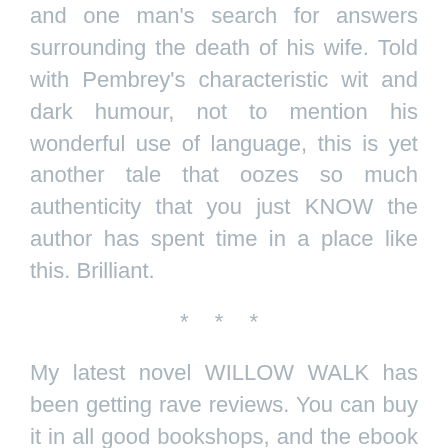and one man's search for answers surrounding the death of his wife. Told with Pembrey's characteristic wit and dark humour, not to mention his wonderful use of language, this is yet another tale that oozes so much authenticity that you just KNOW the author has spent time in a place like this. Brilliant.
* * *
My latest novel WILLOW WALK has been getting rave reviews. You can buy it in all good bookshops, and the ebook is currently